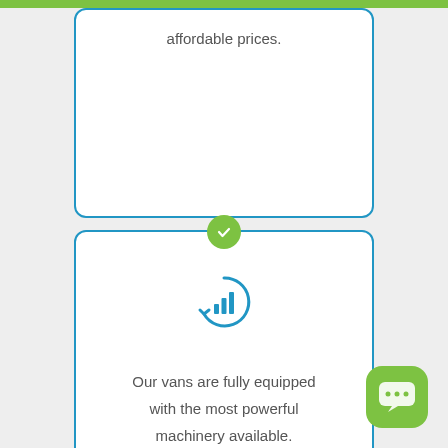affordable prices.
[Figure (infographic): Green circle with white checkmark connecting two card sections]
[Figure (infographic): Blue circular icon with bar chart and refresh arrow symbol]
Our vans are fully equipped with the most powerful machinery available.
[Figure (infographic): Green circle with white checkmark connecting two card sections]
[Figure (infographic): Green rounded square chat bubble button with three dots icon, bottom right corner]